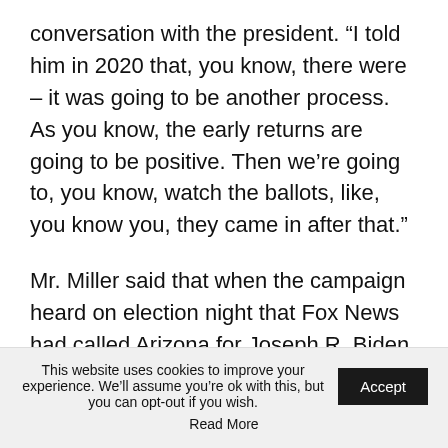conversation with the president. “I told him in 2020 that, you know, there were – it was going to be another process. As you know, the early returns are going to be positive. Then we’re going to, you know, watch the ballots, like, you know you, they came in after that.”
Mr. Miller said that when the campaign heard on election night that Fox News had called Arizona for Joseph R. Biden Jr., he and other campaign staff were angry and disappointed, but also concerned “that our data or our numbers may not
This website uses cookies to improve your experience. We’ll assume you’re ok with this, but you can opt-out if you wish. Accept Read More